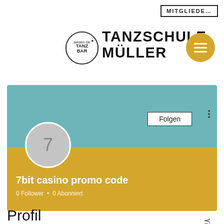MITGLIEDE...
[Figure (logo): Tanzschule Müller logo with circular Tanzbar emblem and bold text TANZSCHULE MÜLLER]
[Figure (other): Yellow circular hamburger menu button with three white horizontal lines]
[Figure (screenshot): Profile card with teal top and yellow bottom. Contains avatar circle with number 7, Folgen button, three-dots menu, profile name '7bit casino promo code', and '0 Follower • 0 Abonniert']
7bit casino promo code
0 Follower • 0 Abonniert
Profil